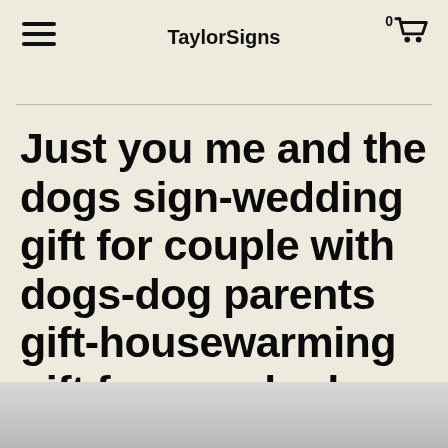TaylorSigns
Just you me and the dogs sign-wedding gift for couple with dogs-dog parents gift-housewarming gift for couple-dog lover gift-dog mom gift
[Figure (photo): Bottom strip showing partial image with light gray gradient background, likely a product image beginning to appear at the bottom of the page.]